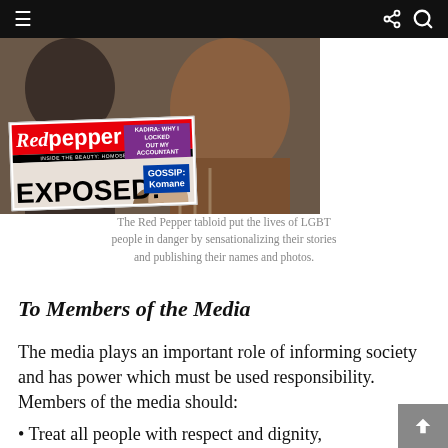≡   share search
[Figure (photo): A person holding a Red Pepper tabloid newspaper with the headline EXPOSED! and a GOSSIP section visible. The newspaper front page features the Red Pepper logo in red and white.]
The Red Pepper tabloid put the lives of LGBT people in danger by sensationalizing their stories and publishing their names and photos.
To Members of the Media
The media plays an important role of informing society and has power which must be used responsibility. Members of the media should:
• Treat all people with respect and dignity,